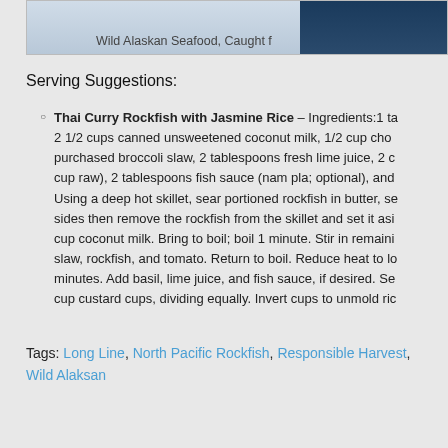[Figure (photo): Partial image strip of Wild Alaskan Seafood at the top of the page]
Wild Alaskan Seafood, Caught f
Serving Suggestions:
Thai Curry Rockfish with Jasmine Rice – Ingredients:1 ta… 2 1/2 cups canned unsweetened coconut milk, 1/2 cup cho… purchased broccoli slaw, 2 tablespoons fresh lime juice, 2 c… cup raw), 2 tablespoons fish sauce (nam pla; optional), and… Using a deep hot skillet, sear portioned rockfish in butter, se… sides then remove the rockfish from the skillet and set it asi… cup coconut milk. Bring to boil; boil 1 minute. Stir in remaini… slaw, rockfish, and tomato. Return to boil. Reduce heat to lo… minutes. Add basil, lime juice, and fish sauce, if desired. Se… cup custard cups, dividing equally. Invert cups to unmold ric…
Tags: Long Line, North Pacific Rockfish, Responsible Harvest, Wild Alaksan